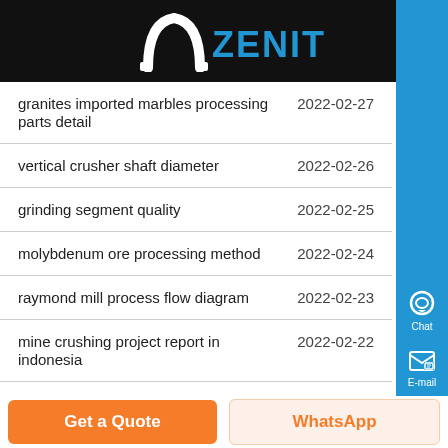[Figure (logo): Zenit company logo — white arch icon and blue ZENIT text on black background]
granites imported marbles processing parts detail  2022-02-27
vertical crusher shaft diameter  2022-02-26
grinding segment quality  2022-02-25
molybdenum ore processing method  2022-02-24
raymond mill process flow diagram  2022-02-23
mine crushing project report in indonesia  2022-02-22
whats iron ore beneficiation  2022-02-21
You May Like
Get a Quote  WhatsApp